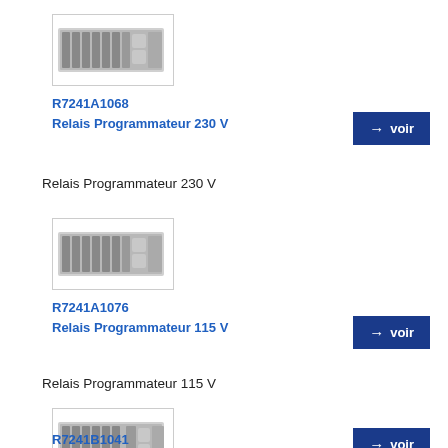[Figure (photo): Photo of R7241A1068 Relais Programmateur 230V device, a rack-mounted electronic module]
R7241A1068
Relais Programmateur 230 V
Relais Programmateur 230 V
[Figure (photo): Photo of R7241A1076 Relais Programmateur 115V device, a rack-mounted electronic module]
R7241A1076
Relais Programmateur 115 V
Relais Programmateur 115 V
[Figure (photo): Photo of R7241B1041 device, a rack-mounted electronic module]
R7241B1041